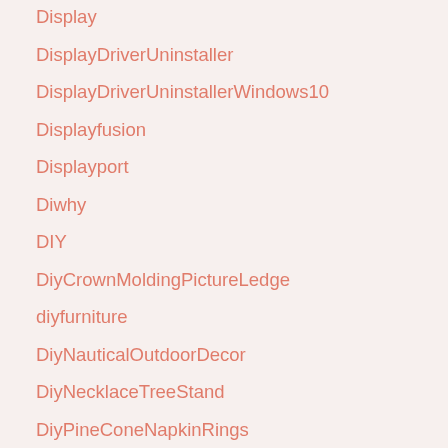Display
DisplayDriverUninstaller
DisplayDriverUninstallerWindows10
Displayfusion
Displayport
Diwhy
DIY
DiyCrownMoldingPictureLedge
diyfurniture
DiyNauticalOutdoorDecor
DiyNecklaceTreeStand
DiyPineConeNapkinRings
DIYProjects
DocSafe
DoilyPatterns